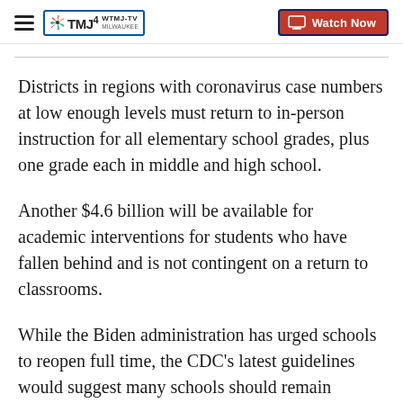WTMJ-TV MILWAUKEE | Watch Now
Districts in regions with coronavirus case numbers at low enough levels must return to in-person instruction for all elementary school grades, plus one grade each in middle and high school.
Another $4.6 billion will be available for academic interventions for students who have fallen behind and is not contingent on a return to classrooms.
While the Biden administration has urged schools to reopen full time, the CDC's latest guidelines would suggest many schools should remain partially or fully closed.